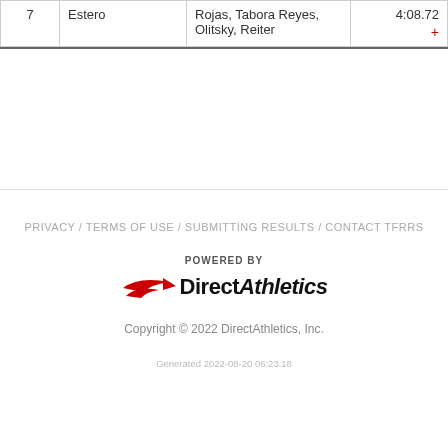| # | Team | Athletes | Time |
| --- | --- | --- | --- |
| 7 | Estero | Rojas, Tabora Reyes, Olitsky, Reiter | 4:08.72 + |
PRIVACY / TERMS OF USE / SUBMITTING RESULTS / CONTACT TFRRS
[Figure (logo): POWERED BY DirectAthletics logo with red swoosh graphic]
Copyright © 2022 DirectAthletics, Inc.
Generated 2022-08-20 06:23:18